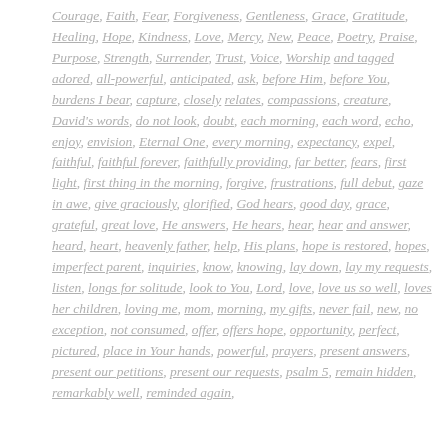Courage, Faith, Fear, Forgiveness, Gentleness, Grace, Gratitude, Healing, Hope, Kindness, Love, Mercy, New, Peace, Poetry, Praise, Purpose, Strength, Surrender, Trust, Voice, Worship and tagged adored, all-powerful, anticipated, ask, before Him, before You, burdens I bear, capture, closely relates, compassions, creature, David's words, do not look, doubt, each morning, each word, echo, enjoy, envision, Eternal One, every morning, expectancy, expel, faithful, faithful forever, faithfully providing, far better, fears, first light, first thing in the morning, forgive, frustrations, full debut, gaze in awe, give graciously, glorified, God hears, good day, grace, grateful, great love, He answers, He hears, hear, hear and answer, heard, heart, heavenly father, help, His plans, hope is restored, hopes, imperfect parent, inquiries, know, knowing, lay down, lay my requests, listen, longs for solitude, look to You, Lord, love, love us so well, loves her children, loving me, mom, morning, my gifts, never fail, new, no exception, not consumed, offer, offers hope, opportunity, perfect, pictured, place in Your hands, powerful, prayers, present answers, present our petitions, present our requests, psalm 5, remain hidden, remarkably well, reminded again,